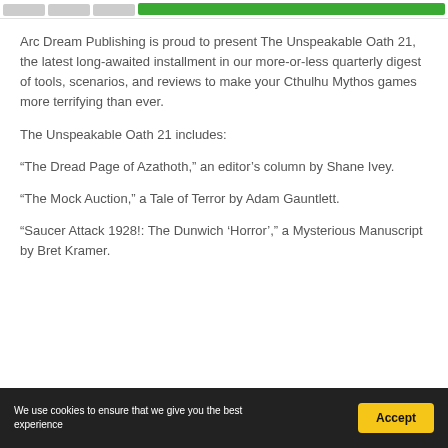Arc Dream Publishing header bar with navigation and green highlight
Arc Dream Publishing is proud to present The Unspeakable Oath 21, the latest long-awaited installment in our more-or-less quarterly digest of tools, scenarios, and reviews to make your Cthulhu Mythos games more terrifying than ever.
The Unspeakable Oath 21 includes:
“The Dread Page of Azathoth,” an editor’s column by Shane Ivey.
“The Mock Auction,” a Tale of Terror by Adam Gauntlett.
“Saucer Attack 1928!: The Dunwich ‘Horror’,” a Mysterious Manuscript by Bret Kramer.
We use cookies to ensure that we give you the best experience